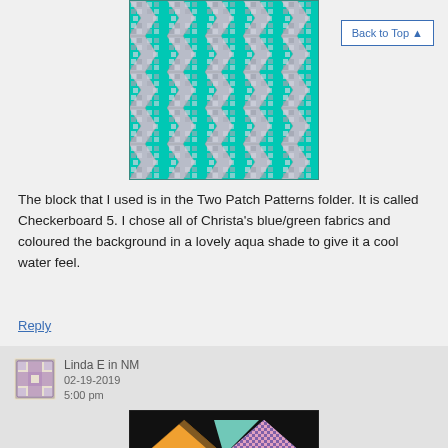[Figure (illustration): Quilt pattern image showing a repeating chevron/arrow design in teal/aqua and grey/white checkerboard fabrics on a teal background, arranged in a grid pattern.]
Back to Top ▲
The block that I used is in the Two Patch Patterns folder. It is called Checkerboard 5. I chose all of Christa's blue/green fabrics and coloured the background in a lovely aqua shade to give it a cool water feel.
Reply
[Figure (illustration): Avatar image - small square icon with a purple/mauve cross/plus pattern on a beige background with decorative border]
Linda E in NM
02-19-2019
5:00 pm
[Figure (illustration): Quilt block image on black background showing geometric diamond/bow-tie shapes in orange, teal/aqua, and multicolor patterned fabric.]